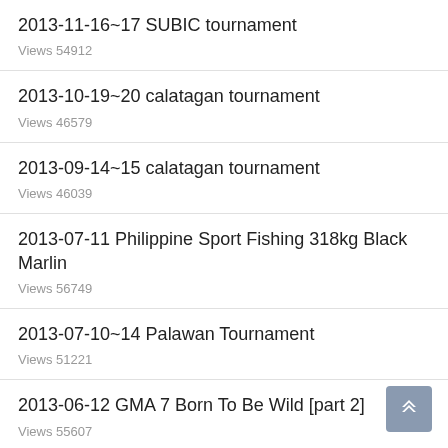2013-11-16~17 SUBIC tournament
Views 54912
2013-10-19~20 calatagan tournament
Views 46579
2013-09-14~15 calatagan tournament
Views 46039
2013-07-11 Philippine Sport Fishing 318kg Black Marlin
Views 56749
2013-07-10~14 Palawan Tournament
Views 51221
2013-06-12 GMA 7 Born To Be Wild [part 2]
Views 55607
2013-06-06 David Black Marlin 293kg
Views 58520